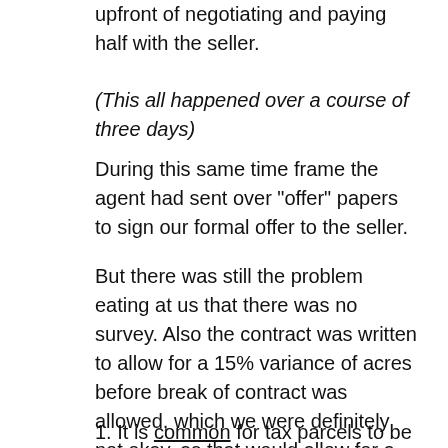upfront of negotiating and paying half with the seller.
(This all happened over a course of three days)
During this same time frame the agent had sent over "offer" papers to sign our formal offer to the seller.
But there was still the problem eating at us that there was no survey. Also the contract was written to allow for a 15% variance of acres before break of contract was allowed, which we were definitely not okay, as that would allow for a 10.6 acreage potential decrease of land.
1. It is common for tax parcels to be "off" on acreage, just because the paper and internet